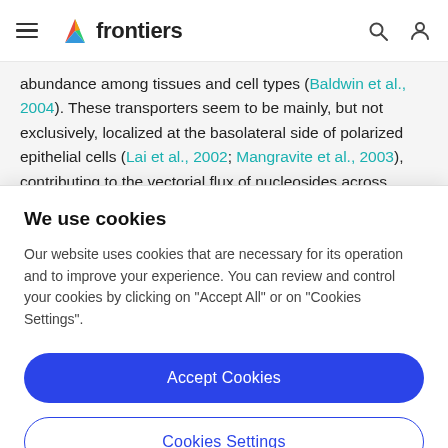frontiers
abundance among tissues and cell types (Baldwin et al., 2004). These transporters seem to be mainly, but not exclusively, localized at the basolateral side of polarized epithelial cells (Lai et al., 2002; Mangravite et al., 2003), contributing to the vectorial flux of nucleosides across
We use cookies
Our website uses cookies that are necessary for its operation and to improve your experience. You can review and control your cookies by clicking on "Accept All" or on "Cookies Settings".
Accept Cookies
Cookies Settings